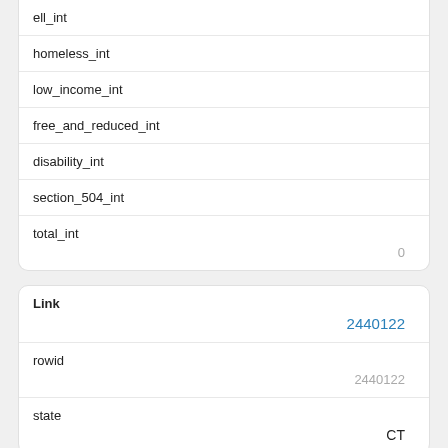| ell_int |  |
| homeless_int |  |
| low_income_int |  |
| free_and_reduced_int |  |
| disability_int |  |
| section_504_int |  |
| total_int | 0 |
| Link | 2440122 |
| rowid | 2440122 |
| state | CT |